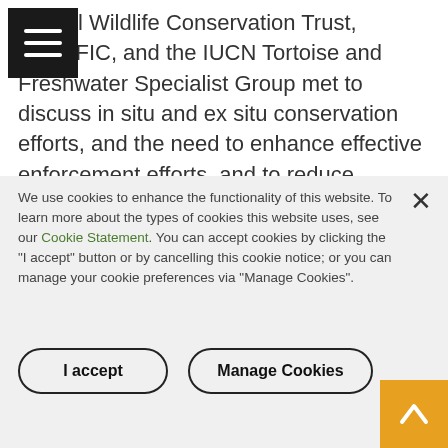Durrell Wildlife Conservation Trust, TRAFFIC, and the IUCN Tortoise and Freshwater Specialist Group met to discuss in situ and ex situ conservation efforts, and the need to enhance effective enforcement efforts, and to reduce demand for the Ploughshare Tortoise. A number of activities to protect the species in the wild and to reduce demand are already underway, including better enforcement in the species's native habitat through increased patrols, and defacing the beautiful shell that makes the species so poplar by branding them, making them not
We use cookies to enhance the functionality of this website. To learn more about the types of cookies this website uses, see our Cookie Statement. You can accept cookies by clicking the "I accept" button or by cancelling this cookie notice; or you can manage your cookie preferences via "Manage Cookies".